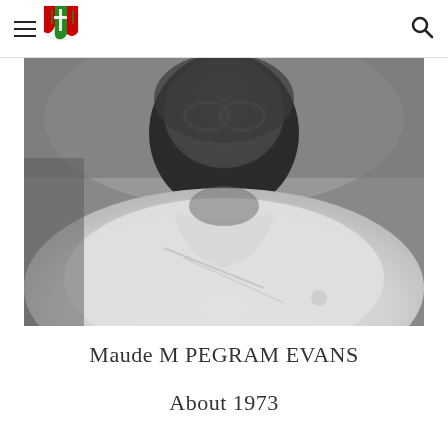Navigation header with hamburger menu, shield logo, and search icon
[Figure (photo): Black and white blurry close-up photo of a person wearing glasses and a white garment, likely a portrait from around 1973]
Maude M PEGRAM EVANS
About 1973